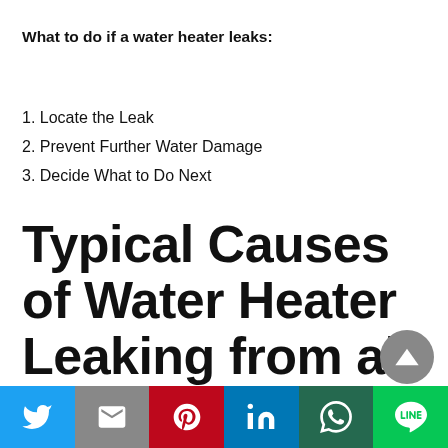What to do if a water heater leaks:
1. Locate the Leak
2. Prevent Further Water Damage
3. Decide What to Do Next
Typical Causes of Water Heater Leaking from all-time low
[Figure (other): Social share bar with Twitter, Gmail, Pinterest, LinkedIn, WhatsApp, and Line buttons]